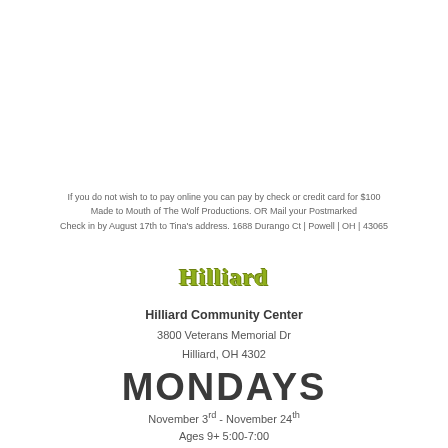If you do not wish to to pay online you can pay by check or credit card for $100 Made to Mouth of The Wolf Productions. OR Mail your Postmarked Check in by August 17th to Tina's address. 1688 Durango Ct | Powell | OH | 43065
[Figure (logo): Hilliard logo in olive/yellow-green serif font]
Hilliard Community Center
3800 Veterans Memorial Dr
Hilliard, OH 4302
MONDAYS
November 3rd - November 24th
Ages 9+ 5:00-7:00